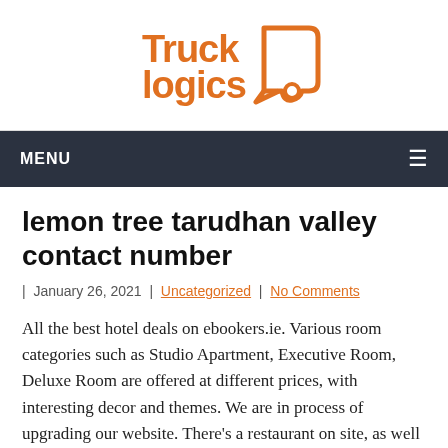[Figure (logo): TruckLogics logo in orange with truck icon]
MENU
lemon tree tarudhan valley contact number
| January 26, 2021 | Uncategorized | No Comments
All the best hotel deals on ebookers.ie. Various room categories such as Studio Apartment, Executive Room, Deluxe Room are offered at different prices, with interesting decor and themes. We are in process of upgrading our website. There's a restaurant on site, as well as a coffee shop/café. Save on your reservation by booking with our discount rates at Lemon Tree Hotel Tarudhan Valley in India Breakfast, Complimentary Wi-Fi